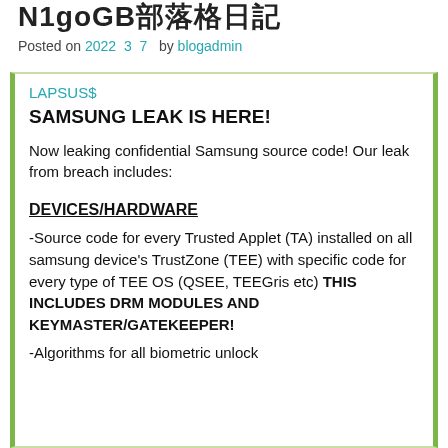N1goGB部落格日記
Posted on 2022 3 7 by blogadmin
LAPSUS$
SAMSUNG LEAK IS HERE!
Now leaking confidential Samsung source code! Our leak from breach includes:
DEVICES/HARDWARE
-Source code for every Trusted Applet (TA) installed on all samsung device's TrustZone (TEE) with specific code for every type of TEE OS (QSEE, TEEGris etc) THIS INCLUDES DRM MODULES AND KEYMASTER/GATEKEEPER!
-Algorithms for all biometric unlock